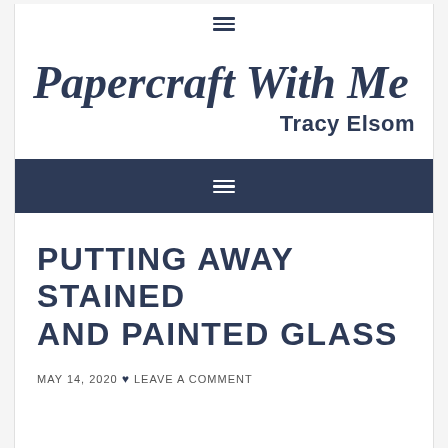≡ (hamburger menu icon)
Papercraft With Me
Tracy Elsom
≡ (hamburger menu icon, dark nav bar)
PUTTING AWAY STAINED AND PAINTED GLASS
MAY 14, 2020 ♥ LEAVE A COMMENT